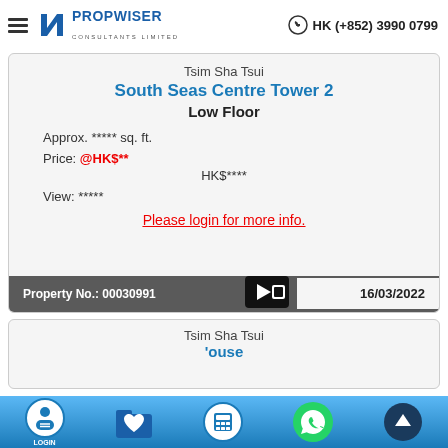Propwiser Consultants Limited | HK (+852) 3990 0799
Tsim Sha Tsui
South Seas Centre Tower 2
Low Floor
Approx. ***** sq. ft.
Price: @HK$**
HK$****
View: *****
Please login for more info.
Property No.: 00030991
16/03/2022
Tsim Sha Tsui
'ouse